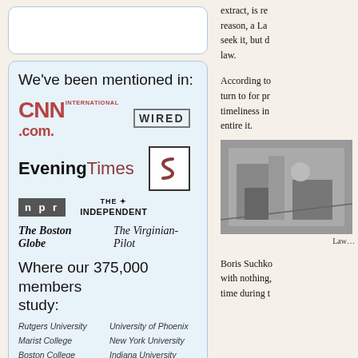We've been mentioned in:
[Figure (logo): CNN International .com logo]
[Figure (logo): WIRED logo]
[Figure (logo): EveningTimes logo]
[Figure (logo): S logo (stylized)]
[Figure (logo): NPR logo]
[Figure (logo): The Independent logo]
[Figure (logo): The Boston Globe logo]
[Figure (logo): The Virginian-Pilot logo]
Where our 375,000 members study:
Rutgers University
University of Phoenix
Marist College
New York University
Boston College
Indiana University
Boston University
Columbia University
University of Colorado
Miami Dade College
extract, is re reason, a La seek it, but d law.
According to turn to for pr timeliness in entire it.
[Figure (photo): Black and white historical photograph of a person near machinery/aircraft]
Law…
Boris Suchko with nothing, time during t